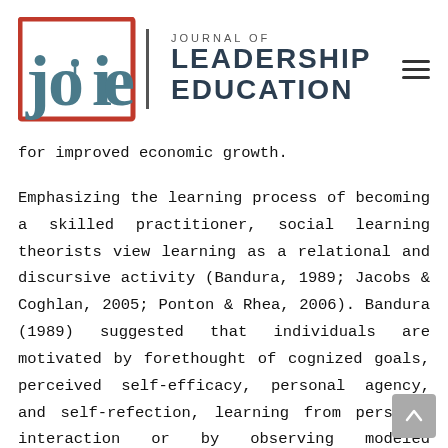JOURNAL OF LEADERSHIP EDUCATION
for improved economic growth.
Emphasizing the learning process of becoming a skilled practitioner, social learning theorists view learning as a relational and discursive activity (Bandura, 1989; Jacobs & Coghlan, 2005; Ponton & Rhea, 2006). Bandura (1989) suggested that individuals are motivated by forethought of cognized goals, perceived self-efficacy, personal agency, and self-refection, learning from personal interaction or by observing modeled behavior. Self-efficacy and cognitive motivation played crucial roles in helping an individual achieve goals and reach desired outcomes (Ponton & Rhea, 2006). Jacobs and Coghlan (2005) extended social learning theory by submitting that